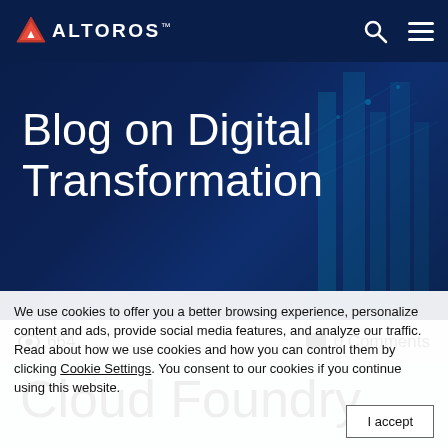ALTOROS™
Blog on Digital Transformation
👁 664   💬 0 Comments
Cloud Foundry Advisory Board Meeting Nov 2016 San Diego, Containers, and Persistence
We use cookies to offer you a better browsing experience, personalize content and ads, provide social media features, and analyze our traffic. Read about how we use cookies and how you can control them by clicking Cookie Settings. You consent to our cookies if you continue using this website.